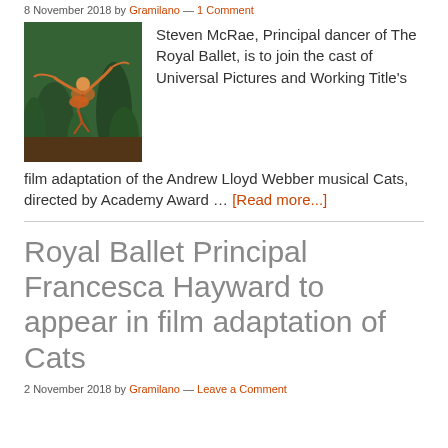8 November 2018 by Gramilano — 1 Comment
[Figure (photo): A ballet dancer in an orange costume leaping on stage with other performers and jungle scenery in the background]
Steven McRae, Principal dancer of The Royal Ballet, is to join the cast of Universal Pictures and Working Title's film adaptation of the Andrew Lloyd Webber musical Cats, directed by Academy Award … [Read more...]
Royal Ballet Principal Francesca Hayward to appear in film adaptation of Cats
2 November 2018 by Gramilano — Leave a Comment